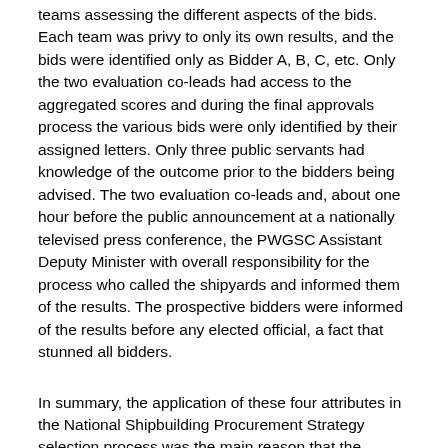teams assessing the different aspects of the bids. Each team was privy to only its own results, and the bids were identified only as Bidder A, B, C, etc. Only the two evaluation co-leads had access to the aggregated scores and during the final approvals process the various bids were only identified by their assigned letters. Only three public servants had knowledge of the outcome prior to the bidders being advised. The two evaluation co-leads and, about one hour before the public announcement at a nationally televised press conference, the PWGSC Assistant Deputy Minister with overall responsibility for the process who called the shipyards and informed them of the results. The prospective bidders were informed of the results before any elected official, a fact that stunned all bidders.
In summary, the application of these four attributes in the National Shipbuilding Procurement Strategy selection process was the main reason that the announcement of the winning shipyards in October 2011 was hailed as a procurement success. Unfortunately, basking in the unusual glow of praise for a Government procurement